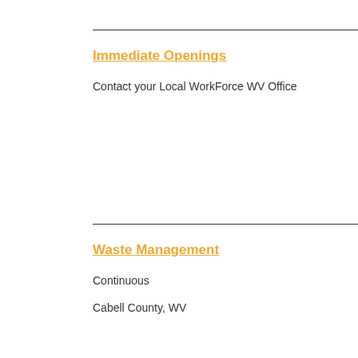Immediate Openings
Contact your Local WorkForce WV Office
Waste Management
Continuous
Cabell County, WV